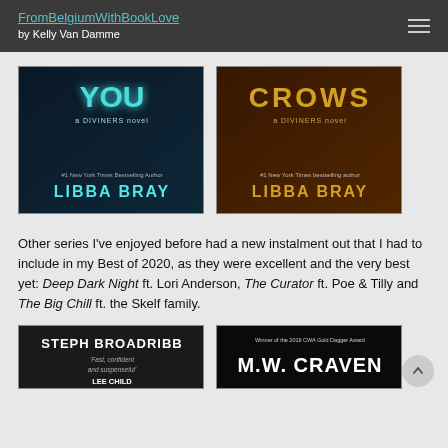FromBelgiumWithBookLove by Kelly Van Damme
[Figure (photo): Book cover of a Diviners novel showing 'YOU' in teal/cyan glowing text by Libba Bray]
[Figure (photo): Book cover of a Diviners novel showing 'CROWS' in orange/gold glowing text by Libba Bray]
Other series I've enjoyed before had a new instalment out that I had to include in my Best of 2020, as they were excellent and the very best yet: Deep Dark Night ft. Lori Anderson, The Curator ft. Poe & Tilly and The Big Chill ft. the Skelf family.
[Figure (photo): Book cover showing author name Steph Broadribb with quote 'Fast, confident and suspenseful' Lee Child]
[Figure (photo): Book cover showing Winner of the 2019 CWA Gold Dagger Award, M.W. Craven]